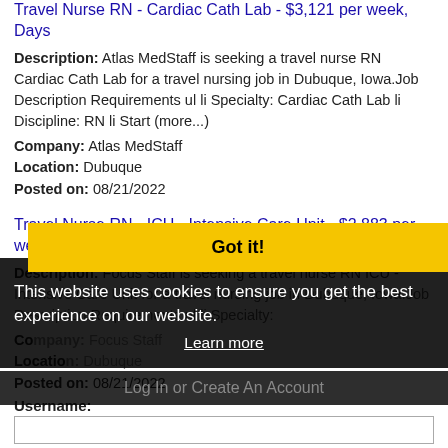Travel Nurse RN - Cardiac Cath Lab - $3,121 per week, Days
Description: Atlas MedStaff is seeking a travel nurse RN Cardiac Cath Lab for a travel nursing job in Dubuque, Iowa.Job Description Requirements ul li Specialty: Cardiac Cath Lab li Discipline: RN li Start (more...)
Company: Atlas MedStaff
Location: Dubuque
Posted on: 08/21/2022
Travel Nurse RN - ICU - Intensive Care Unit - $2,883 per week, Nights
Description: Focus Staff is seeking a travel nurse RN ICU - Intensive Care Unit for a travel nursing job in Dubuque, Iowa.Job Description Requirements ul li Specialty:
Company: Focus Staff
Location: Dubuque
Posted on: 08/21/2022
Loading more jobs...
This website uses cookies to ensure you get the best experience on our website.
Learn more
Got it!
Log In or Create An Account
Username: